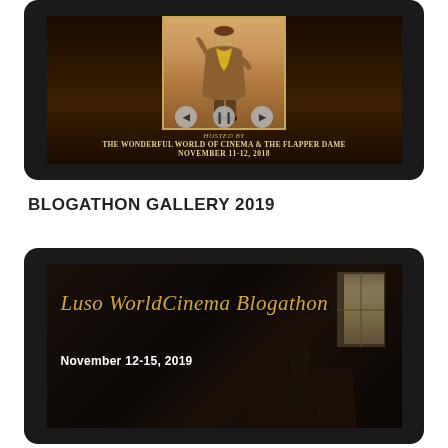[Figure (screenshot): A dark tablet/screen frame showing a vintage blogathon banner. The banner features a figure in period costume with arms raised. Controls (back, pause, forward) are visible. Text reads: 'Hosted by The Wonderful World of Cinema & The Flapper Dame, November 11-12, 2018'.]
BLOGATHON GALLERY 2019
[Figure (screenshot): A dark tablet/screen frame showing the Luso World Cinema Blogathon banner. Gold cursive text reads 'Luso WorldCinema Blogathon'. Below in white: 'November 12-15, 2019'. Dark atmospheric background with a figure at a piano and window light on the right side.]